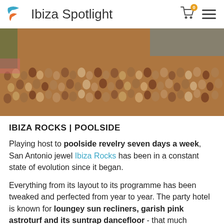Ibiza Spotlight
[Figure (photo): Aerial/wide-angle photo of a large crowd of people at a poolside party event, packed tightly together outdoors with a pool visible in the background.]
IBIZA ROCKS | POOLSIDE
Playing host to poolside revelry seven days a week, San Antonio jewel Ibiza Rocks has been in a constant state of evolution since it began.
Everything from its layout to its programme has been tweaked and perfected from year to year. The party hotel is known for loungey sun recliners, garish pink astroturf and its suntrap dancefloor - that much remains unchanged.